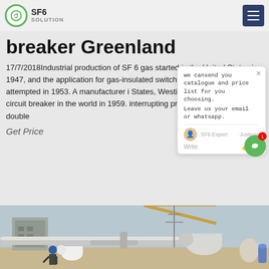SF6 SOLUTION
breaker Greenland
17/7/2018Industrial production of SF 6 gas started in the United States in 1947, and the application for gas-insulated switchgear with SF 6 attempted in 1953. A manufacturer in States, Westinghouse, produced the circuit breaker in the world in 1959. interrupting principle has been in double
Get Price
[Figure (screenshot): Chat popup overlay showing message: 'we cansend you catalogue and price list for you choosing. Leave us your email or whatsapp.' with SF6 Expert avatar and Write input row]
[Figure (photo): Industrial outdoor substation scene with large pipes, equipment, crane boom, and worker in blue hard hat in foreground]